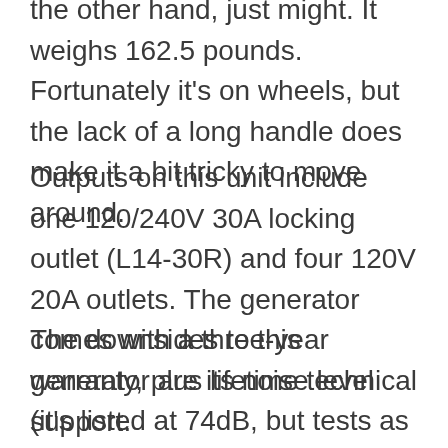the other hand, just might. It weighs 162.5 pounds. Fortunately it's on wheels, but the lack of a long handle does make it a bit tricky to move around.
Outputs on this unit include one 120/240V 30A locking outlet (L14-30R) and four 120V 20A outlets. The generator comes with a three-year warranty, plus lifetime technical support.
The downsides to this generator are its noise level (it's listed at 74dB, but tests as high as 81.5dB when using gas), and its weight and